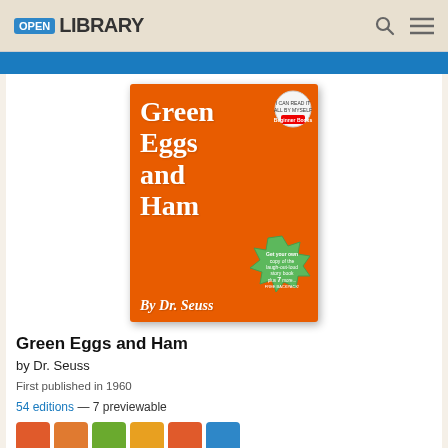OPEN LIBRARY
[Figure (photo): Book cover of Green Eggs and Ham by Dr. Seuss — orange cover with white stylized title text and Dr. Seuss characters illustration]
Green Eggs and Ham
by Dr. Seuss
First published in 1960
54 editions — 7 previewable